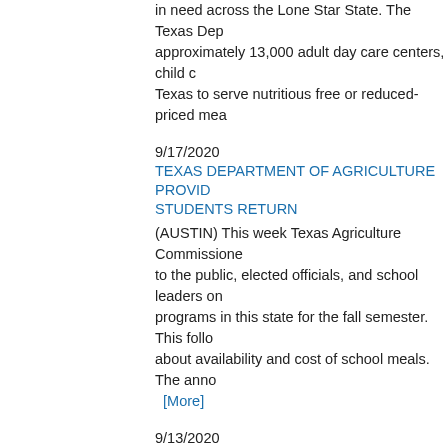in need across the Lone Star State. The Texas Department of Agriculture serves approximately 13,000 adult day care centers, child care centers, and schools throughout Texas to serve nutritious free or reduced-priced meals.
9/17/2020
TEXAS DEPARTMENT OF AGRICULTURE PROVIDES GUIDANCE AS STUDENTS RETURN
(AUSTIN) This week Texas Agriculture Commissioner sent letters to the public, elected officials, and school leaders on the state of school meal programs in this state for the fall semester. This follows up questions about availability and cost of school meals. The announcement... [More]
9/13/2020
TEXAS AG COMMISSIONER SID MILLER RECRUITS COUNTRY STARS FOR FRESH FOODS
AUSTIN- Today, Texas Agriculture Commissioner Sid Miller joined country music artist Miranda Lambert and All Pro Ho teamed up with the Texas Department of Agriculture Initiative on radio and social media. [More]
9/2/2020
COMMISSIONER MILLER ANNOUNCES FOOD ASSISTANCE FOR FAMILIES IN ORANGE COUNTY
AUSTIN- Today, Texas Agriculture Commissioner Sid Miller announced the Department of Agriculture (TDA) was approved by USDA for the Disaster Household Distribution for Orange County Texas through September 21, 2020. Families affected by the hurricane in Orange County are now eligible to pick up food boxes.
8/10/2020
SADDLE UP FOR SEASON TWO OF TEXAS AG COMMISSIONER...